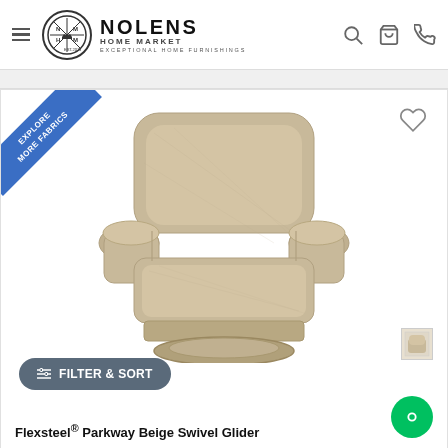Nolens Home Market — Exceptional Home Furnishings
[Figure (screenshot): E-commerce product listing page for Nolens Home Market showing a beige upholstered swivel glider chair. Page includes navigation header with hamburger menu, logo, search/cart/phone icons, a blue 'Explore More Fabrics' ribbon banner on product image, heart/wishlist icon, filter & sort button, chat button, and product title 'Flexsteel® Parkway Beige Swivel Glider'.]
Flexsteel® Parkway Beige Swivel Glider